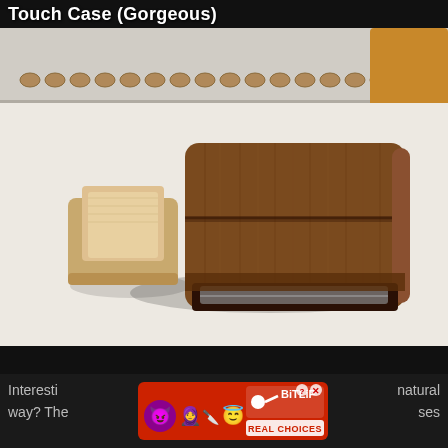Touch Case (Gorgeous)
[Figure (photo): A wooden iPhone/iPod touch case shown open with a lighter-colored wooden tray piece slid out to the left, placed on a white surface with a spiral notebook in the background. The main case body is dark walnut-colored wood with a slot at the bottom.]
[Figure (screenshot): A mobile advertisement banner for BitLife - Real Choices app, showing emoji characters (devil, woman, angel) and the BitLife logo on a red background with close and info buttons.]
Interesti... natural way? The... ses